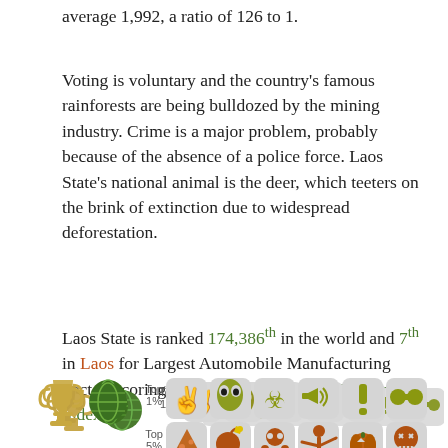average 1,992, a ratio of 126 to 1.
Voting is voluntary and the country's famous rainforests are being bulldozed by the mining industry. Crime is a major problem, probably because of the absence of a police force. Laos State's national animal is the deer, which teeters on the brink of extinction due to widespread deforestation.
Laos State is ranked 174,386th in the world and 7th in Laos for Largest Automobile Manufacturing Sector, scoring zero on the Henry Ford Productivity Index.
[Figure (infographic): Achievement badge icons arranged in rows with labels Top 1%, Top 5%, Top 10%. Trophy and globe icons on the left. Icons include various themed badges in gold/green and orange/brown color schemes.]